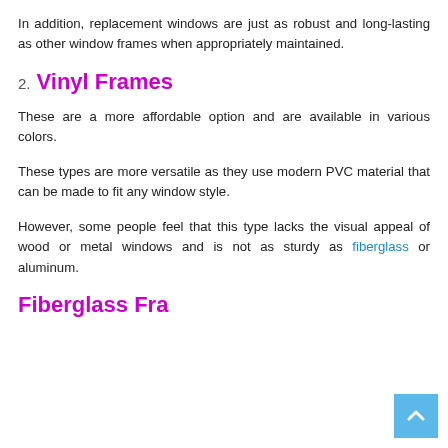In addition, replacement windows are just as robust and long-lasting as other window frames when appropriately maintained.
2. Vinyl Frames
These are a more affordable option and are available in various colors.
These types are more versatile as they use modern PVC material that can be made to fit any window style.
However, some people feel that this type lacks the visual appeal of wood or metal windows and is not as sturdy as fiberglass or aluminum.
Fiberglass Frames